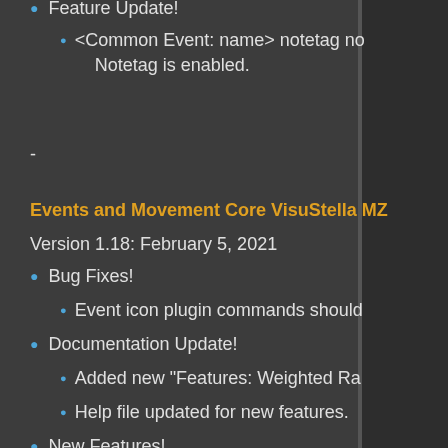Feature Update!
<Common Event: name> notetag no... Notetag is enabled.
-
Events and Movement Core VisuStella MZ
Version 1.18: February 5, 2021
Bug Fixes!
Event icon plugin commands should
Documentation Update!
Added new "Features: Weighted Ra...
Help file updated for new features.
New Features!
New Notetags added by Arisu:
<Random Move Weight: x>
If this tag is used on an event... home location (where they ar... depend on the weighted 'x' va...